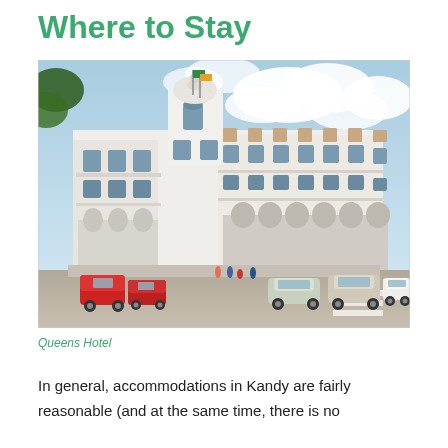Where to Stay
[Figure (photo): Exterior view of the Queens Hotel in Kandy, Sri Lanka. A large white colonial-style building with a distinctive circular tower topped by a dome. Tuk-tuks and cars are visible on the street in front of the hotel. Blue sky with clouds in the background.]
Queens Hotel
In general, accommodations in Kandy are fairly reasonable (and at the same time, there is no